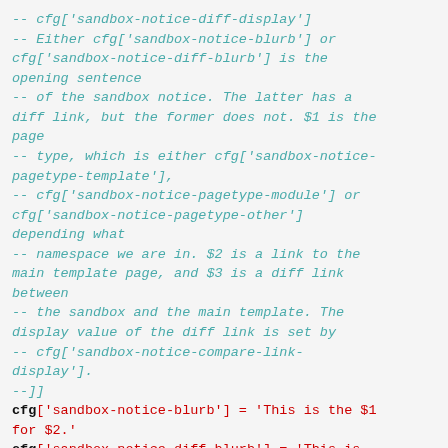-- cfg['sandbox-notice-diff-display']
-- Either cfg['sandbox-notice-blurb'] or cfg['sandbox-notice-diff-blurb'] is the opening sentence
-- of the sandbox notice. The latter has a diff link, but the former does not. $1 is the page
-- type, which is either cfg['sandbox-notice-pagetype-template'],
-- cfg['sandbox-notice-pagetype-module'] or cfg['sandbox-notice-pagetype-other'] depending what
-- namespace we are in. $2 is a link to the main template page, and $3 is a diff link between
-- the sandbox and the main template. The display value of the diff link is set by
-- cfg['sandbox-notice-compare-link-display'].
--]]
cfg['sandbox-notice-blurb'] = 'This is the $1 for $2.'
cfg['sandbox-notice-diff-blurb'] = 'This is the $1 for $2 ($3).'
cfg['sandbox-notice-compare-link-display'] =